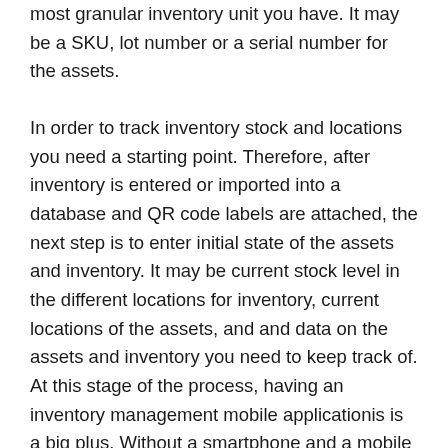most granular inventory unit you have. It may be a SKU, lot number or a serial number for the assets.
In order to track inventory stock and locations you need a starting point. Therefore, after inventory is entered or imported into a database and QR code labels are attached, the next step is to enter initial state of the assets and inventory. It may be current stock level in the different locations for inventory, current locations of the assets, and and data on the assets and inventory you need to keep track of. At this stage of the process, having an inventory management mobile applicationis is a big plus. Without a smartphone and a mobile application you would need to record inventory stock with a paper and pencil, and then manually enter these data into the inventory management software. With the QR code scanning mobile application you can scan QR codes or barcodes on the inventory, enter quantity and other required parameters, take photos - and